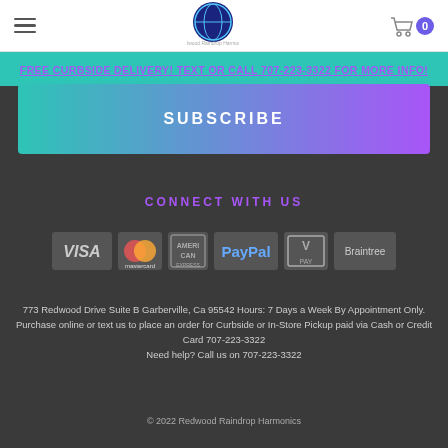Redwood Raindrop Harmonics - Navigation header with hamburger menu, logo, and cart
FREE CURBSIDE DELIVERY! TEXT OR CALL 707-223-3322 FOR MORE INFO!
SUBSCRIBE
CONNECT WITH US
[Figure (logo): Payment method logos: VISA, Mastercard, American Express, PayPal, V PAY, Braintree]
773 Redwood Drive Suite B Garberville, Ca 95542 Hours: 7 Days a Week By Appointment Only. Purchase online or text us to place an order for Curbside or In-Store Pickup paid via Cash or Credit Card 707-223-3322
Need help? Call us on 707-223-3322
© 2022 Redwood Raindrop Harmonics